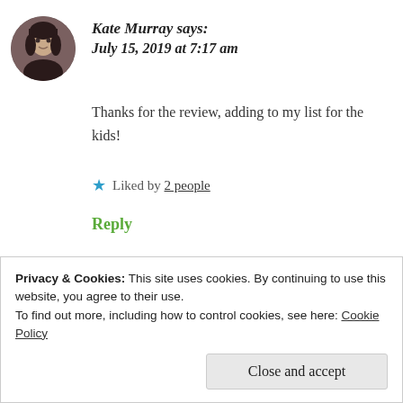Kate Murray says: July 15, 2019 at 7:17 am
Thanks for the review, adding to my list for the kids!
★ Liked by 2 people
Reply
Privacy & Cookies: This site uses cookies. By continuing to use this website, you agree to their use.
To find out more, including how to control cookies, see here: Cookie Policy
Close and accept
★ Liked by 1 person